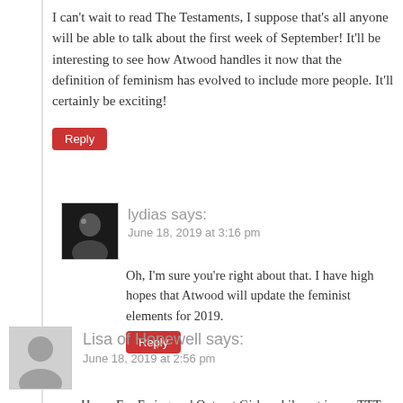I can't wait to read The Testaments, I suppose that's all anyone will be able to talk about the first week of September! It'll be interesting to see how Atwood handles it now that the definition of feminism has evolved to include more people. It'll certainly be exciting!
Reply
lydias says:
June 18, 2019 at 3:16 pm
Oh, I'm sure you're right about that. I have high hopes that Atwood will update the feminist elements for 2019.
Reply
Lisa of Hopewell says:
June 18, 2019 at 2:56 pm
Home For Erring and Outcast Girls, while not in my TTT post today, is on my to read list. I hope it